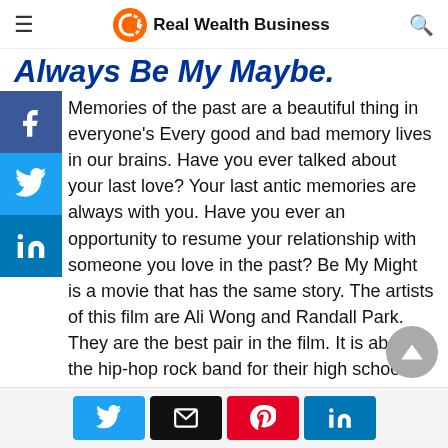Real Wealth Business
Always Be My Maybe.
Memories of the past are a beautiful thing in everyone's Every good and bad memory lives in our brains. Have you ever talked about your last love? Your last antic memories are always with you. Have you ever an opportunity to resume your relationship with someone you love in the past? Be My Might is a movie that has the same story. The artists of this film are Ali Wong and Randall Park. They are the best pair in the film. It is about the hip-hop rock band for their high school.
Share buttons: Twitter, Email, Pinterest, LinkedIn